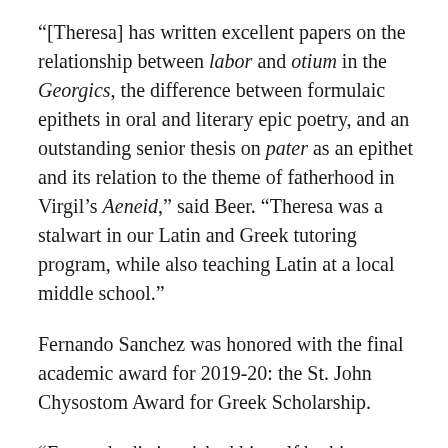“[Theresa] has written excellent papers on the relationship between labor and otium in the Georgics, the difference between formulaic epithets in oral and literary epic poetry, and an outstanding senior thesis on pater as an epithet and its relation to the theme of fatherhood in Virgil’s Aeneid,” said Beer. “Theresa was a stalwart in our Latin and Greek tutoring program, while also teaching Latin at a local middle school.”
Fernando Sanchez was honored with the final academic award for 2019-20: the St. John Chysostom Award for Greek Scholarship.
“Fernando distinguished himself by his outstanding